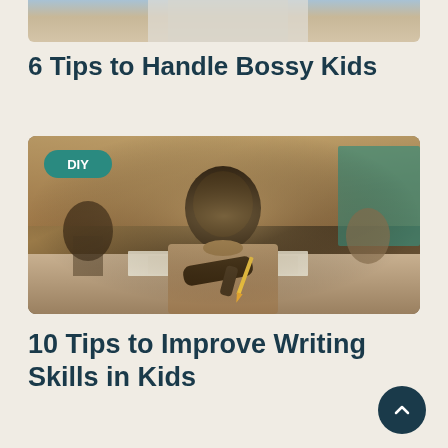[Figure (photo): Partial photo of a person at top of page, cropped]
6 Tips to Handle Bossy Kids
[Figure (photo): Classroom photo of a young African child writing at a desk with pencil, with other children in background. DIY badge overlay in top-left corner.]
10 Tips to Improve Writing Skills in Kids